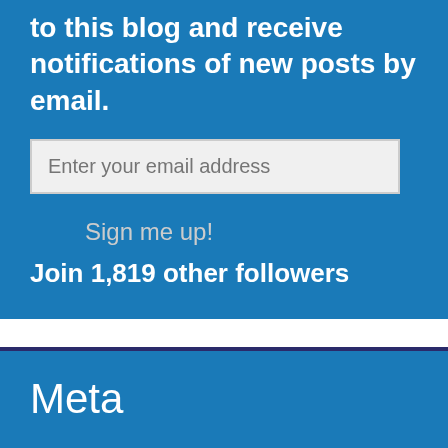to this blog and receive notifications of new posts by email.
Enter your email address
Sign me up!
Join 1,819 other followers
Meta
Register
Log in